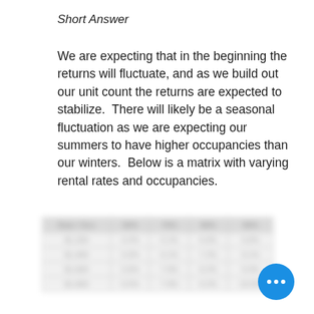Short Answer
We are expecting that in the beginning the returns will fluctuate, and as we build out our unit count the returns are expected to stabilize.  There will likely be a seasonal fluctuation as we are expecting our summers to have higher occupancies than our winters.  Below is a matrix with varying rental rates and occupancies.
[Figure (table-as-image): A blurred/redacted matrix table showing varying rental rates and occupancies. The table contents are obscured and not legible.]